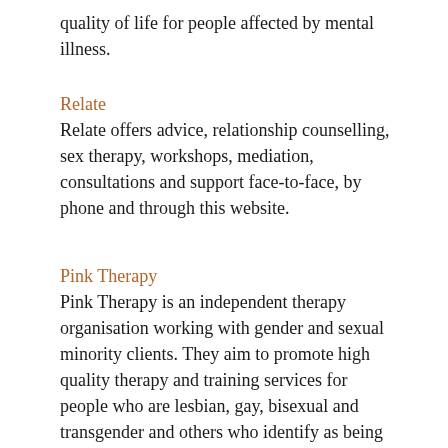quality of life for people affected by mental illness.
Relate
Relate offers advice, relationship counselling, sex therapy, workshops, mediation, consultations and support face-to-face, by phone and through this website.
Pink Therapy
Pink Therapy is an independent therapy organisation working with gender and sexual minority clients. They aim to promote high quality therapy and training services for people who are lesbian, gay, bisexual and transgender and others who identify as being gender or sexual minorities.